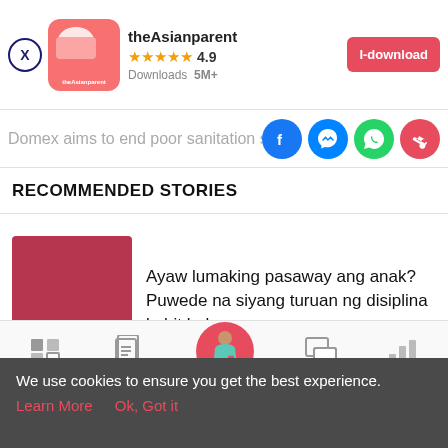[Figure (screenshot): theAsianparent app banner with logo, 4.9 star rating, 5M+ downloads, and I-download install button]
Domex aims to end poor sanitation st...
[Figure (other): Social share icons: Facebook, Messenger, WhatsApp, Share]
RECOMMENDED STORIES
[Figure (photo): Thumbnail image placeholder in dark pink/red color]
Ayaw lumaking pasaway ang anak? Puwede na siyang turuan ng disiplina kahit baby pa...
[Figure (other): Bottom navigation bar with Tools, Articles, Home (pregnant woman icon), Feed, Poll]
We use cookies to ensure you get the best experience.
Learn More   Ok, Got it